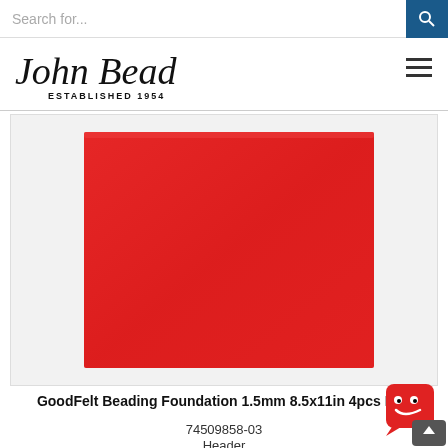Search for...
[Figure (logo): John Bead cursive logo with ESTABLISHED 1954 below]
[Figure (photo): Red felt beading foundation sheet on white background]
GoodFelt Beading Foundation 1.5mm 8.5x11in 4pcs Red
74509858-03
Header